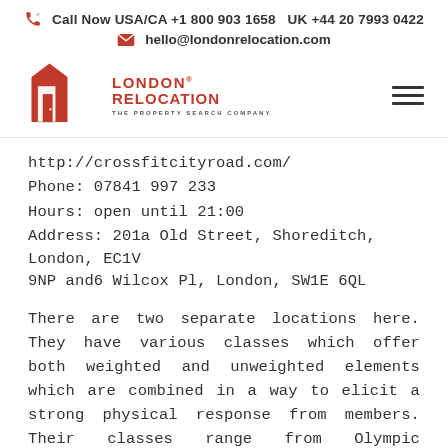Call Now USA/CA +1 800 903 1658   UK +44 20 7993 0422
hello@londonrelocation.com
[Figure (logo): London Relocation logo - red door icon with LONDON RELOCATION THE PROPERTY SEARCH COMPANY text]
http://crossfitcityroad.com/
Phone: 07841 997 233
Hours: open until 21:00
Address: 201a Old Street, Shoreditch, London, EC1V 9NP and 6 Wilcox Pl, London, SW1E 6QL
There are two separate locations here. They have various classes which offer both weighted and unweighted elements which are combined in a way to elicit a strong physical response from members. Their classes range from Olympic weightlifting to gymnastics